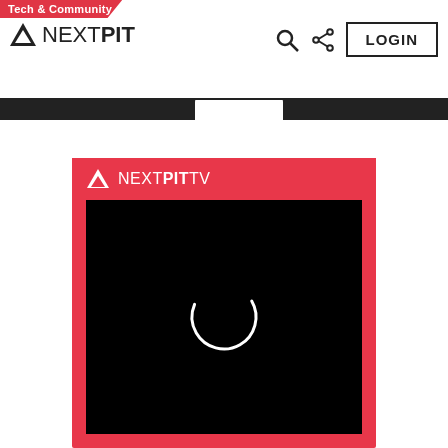Tech & Community | NEXTPIT | LOGIN
[Figure (screenshot): NEXTPIT TV video player card with red background and black video area showing a loading spinner circle]